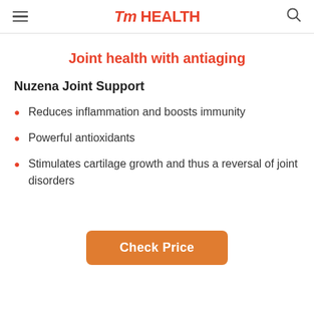TM HEALTH
Joint health with antiaging
Nuzena Joint Support
Reduces inflammation and boosts immunity
Powerful antioxidants
Stimulates cartilage growth and thus a reversal of joint disorders
Check Price